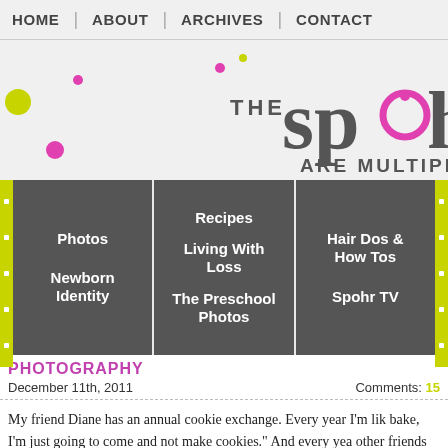HOME | ABOUT | ARCHIVES | CONTACT
[Figure (logo): The Spohrs Are Multiplying blog logo with decorative colored dots in pink and lime green]
[Figure (infographic): Navigation category menu with dark gray boxes: Photos, Recipes, Hair Dos & How Tos, Newborn Identity, Living With Loss, Spohr TV, The Preschool Photos]
PHOTOGRAPHY
December 11th, 2011
Comments: 15
My friend Diane has an annual cookie exchange. Every year I'm like bake, I'm just going to come and not make cookies." And every yea other friends don't stand for that, and have brutally forced me to m year was the first year I didn't complain about making cookies – M dare has made me much more comfortable baking. But shhh, don'